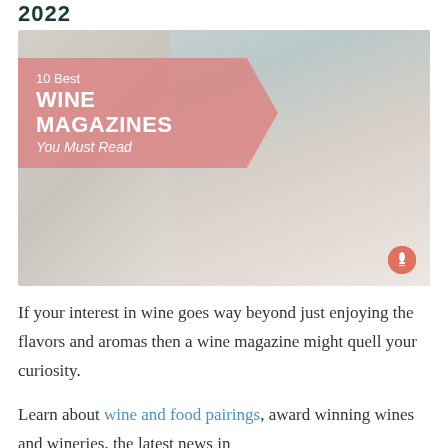2022
[Figure (photo): Woman sitting on a couch reading a magazine while holding a glass of red wine. Pink banner overlay on the left reads '10 Best WINE MAGAZINES You Must Read'. Small circular icon in the bottom right corner.]
If your interest in wine goes way beyond just enjoying the flavors and aromas then a wine magazine might quell your curiosity.
Learn about wine and food pairings, award winning wines and wineries, the latest news in